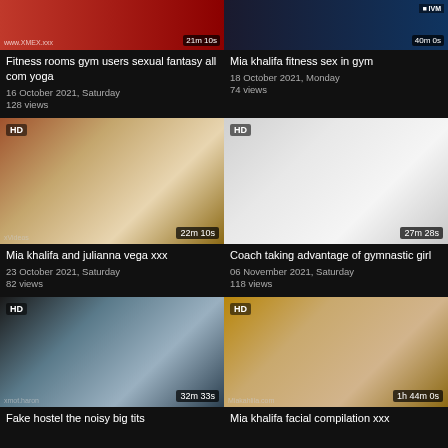[Figure (screenshot): Top strip partial thumbnails with duration overlays]
Fitness rooms gym users sexual fantasy all com yoga
16 October 2021, Saturday
128 views
Mia khalifa fitness sex in gym
18 October 2021, Monday
74 views
[Figure (screenshot): HD thumbnail of woman on bed, 22m 10s]
[Figure (screenshot): HD thumbnail of young woman in white top, 27m 28s]
Mia khalifa and julianna vega xxx
23 October 2021, Saturday
82 views
Coach taking advantage of gymnastic girl
06 November 2021, Saturday
118 views
[Figure (screenshot): HD thumbnail dark-haired woman, 32m 33s]
[Figure (screenshot): HD thumbnail two women on couch, 1h 44m 0s]
Fake hostel the noisy big tits
Mia khalifa facial compilation xxx